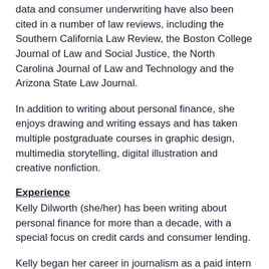data and consumer underwriting have also been cited in a number of law reviews, including the Southern California Law Review, the Boston College Journal of Law and Social Justice, the North Carolina Journal of Law and Technology and the Arizona State Law Journal.
In addition to writing about personal finance, she enjoys drawing and writing essays and has taken multiple postgraduate courses in graphic design, multimedia storytelling, digital illustration and creative nonfiction.
Experience
Kelly Dilworth (she/her) has been writing about personal finance for more than a decade, with a special focus on credit cards and consumer lending.
Kelly began her career in journalism as a paid intern at The Atlantic shortly after graduating from Sarah Lawrence College, then detoured into nonfiction book publishing for a few years.
She returned to journalism in 2010 after moving back home to Texas and began covering credit card interest rates and pricing for CreditCards.com. In 2011, she took over web